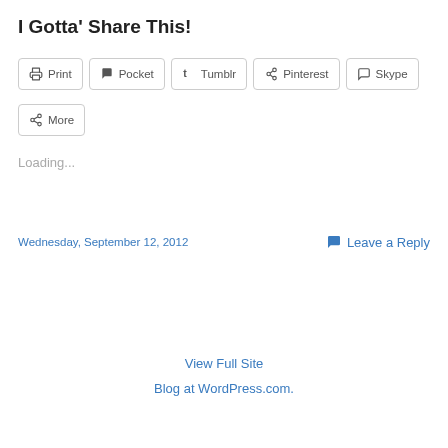I Gotta' Share This!
[Figure (screenshot): Share buttons row: Print, Pocket, Tumblr, Pinterest, Skype; second row: More]
Loading...
Wednesday, September 12, 2012   Leave a Reply
View Full Site
Blog at WordPress.com.